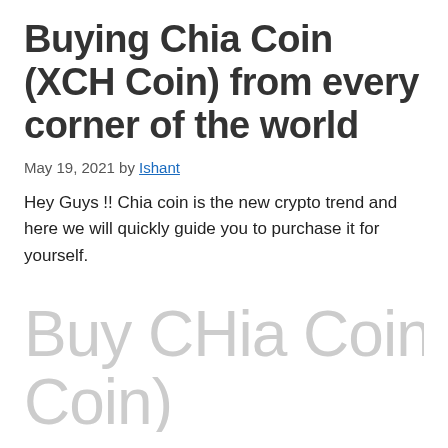Buying Chia Coin (XCH Coin) from every corner of the world
May 19, 2021 by Ishant
Hey Guys !! Chia coin is the new crypto trend and here we will quickly guide you to purchase it for yourself.
[Figure (illustration): Watermark-style light gray text reading 'Buy CHia Coin (XCH Coin)']